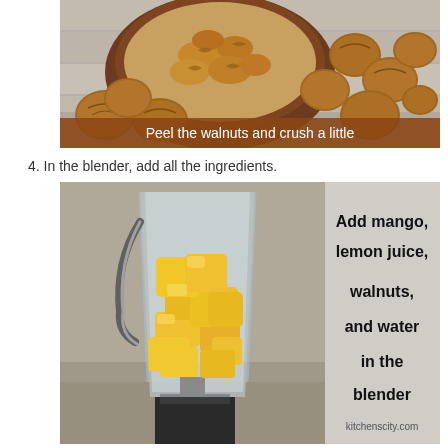[Figure (photo): A wooden bowl filled with shelled walnuts surrounded by whole walnuts in their shells on a light wood surface. A brown caption bar at the bottom reads 'Peel the walnuts and crush a little' in white text.]
4. In the blender, add all the ingredients.
[Figure (photo): A blender jar filled with yellow mango cubes on the left side, with a light gray panel on the right side showing the text 'Add mango, lemon juice, walnuts, and water in the blender' and 'kitchenscity.com' at the bottom.]